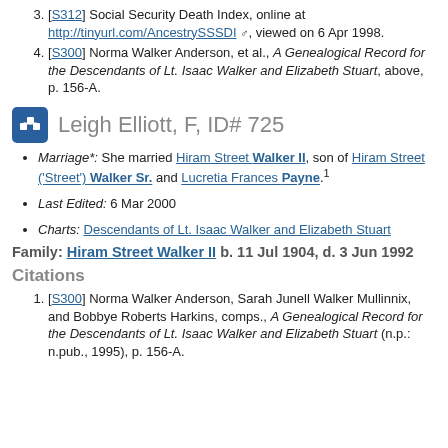[S312] Social Security Death Index, online at http://tinyurl.com/AncestrySSSDI, viewed on 6 Apr 1998.
[S300] Norma Walker Anderson, et al., A Genealogical Record for the Descendants of Lt. Isaac Walker and Elizabeth Stuart, above, p. 156-A.
Leigh Elliott, F, ID# 725
Marriage*: She married Hiram Street Walker II, son of Hiram Street ('Street') Walker Sr. and Lucretia Frances Payne.1
Last Edited: 6 Mar 2000
Charts: Descendants of Lt. Isaac Walker and Elizabeth Stuart
Family: Hiram Street Walker II b. 11 Jul 1904, d. 3 Jun 1992
Citations
[S300] Norma Walker Anderson, Sarah Junell Walker Mullinnix, and Bobbye Roberts Harkins, comps., A Genealogical Record for the Descendants of Lt. Isaac Walker and Elizabeth Stuart (n.p.: n.pub., 1995), p. 156-A.